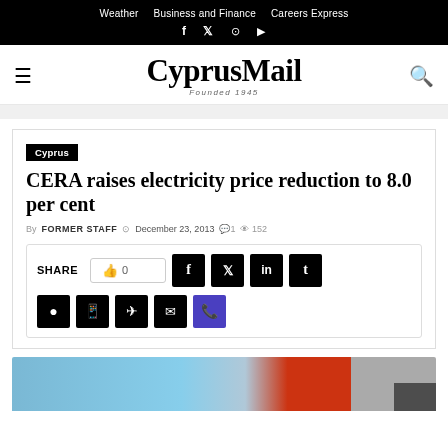Weather  Business and Finance  Careers Express
CyprusMail — Founded 1945
Cyprus
CERA raises electricity price reduction to 8.0 per cent
By FORMER STAFF  December 23, 2013  1  152
SHARE  0  social sharing buttons: Facebook, Twitter, LinkedIn, Tumblr, Reddit, WhatsApp, Telegram, Email, Viber